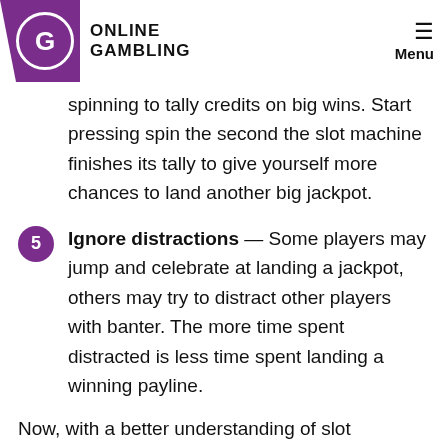Online Gambling — Menu
spinning to tally credits on big wins. Start pressing spin the second the slot machine finishes its tally to give yourself more chances to land another big jackpot.
5 Ignore distractions — Some players may jump and celebrate at landing a jackpot, others may try to distract other players with banter. The more time spent distracted is less time spent landing a winning payline.
Now, with a better understanding of slot tournaments, the only thing left to do is get to an online casino and try your luck. Check out our list of top-rated slots casinos, as many of them offer